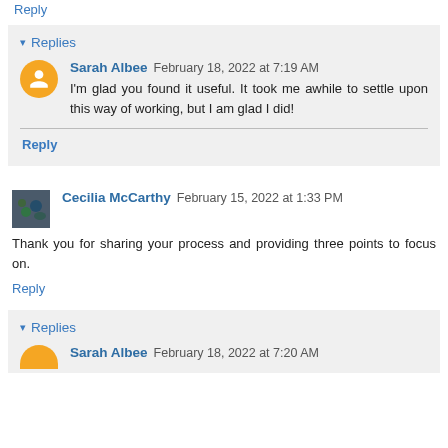Reply
Replies
Sarah Albee  February 18, 2022 at 7:19 AM
I'm glad you found it useful. It took me awhile to settle upon this way of working, but I am glad I did!
Reply
Cecilia McCarthy  February 15, 2022 at 1:33 PM
Thank you for sharing your process and providing three points to focus on.
Reply
Replies
Sarah Albee  February 18, 2022 at 7:20 AM